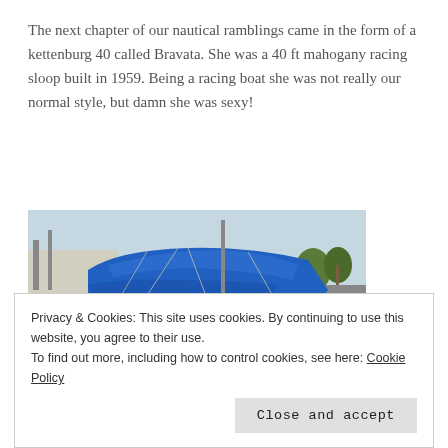The next chapter of our nautical ramblings came in the form of a kettenburg 40 called Bravata. She was a 40 ft mahogany racing sloop built in 1959. Being a racing boat she was not really our normal style, but damn she was sexy!
[Figure (photo): A white sailboat (Kettenburg 40 named Bravata) covered with a blue tarp, docked at a marina. Other boats and palm trees are visible in the background.]
Privacy & Cookies: This site uses cookies. By continuing to use this website, you agree to their use.
To find out more, including how to control cookies, see here: Cookie Policy
Close and accept